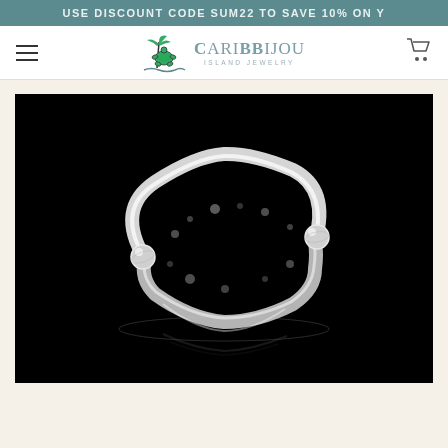USE DISCOUNT CODE SUM22 TO SAVE 10% ON Y
[Figure (logo): Caribbjou Island Jewelry logo with palm tree and turtle graphic]
[Figure (photo): Silver Caribbean bangle bracelet with hammered texture and ball ends, photographed on black background with reflection]